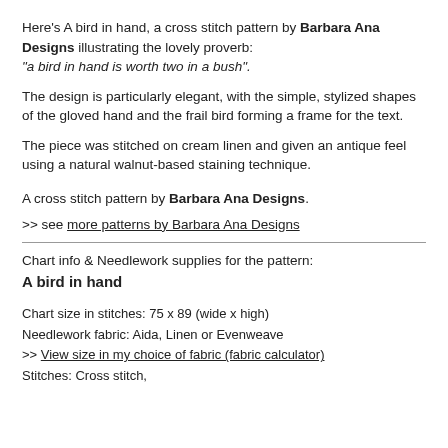Here's A bird in hand, a cross stitch pattern by Barbara Ana Designs illustrating the lovely proverb: "a bird in hand is worth two in a bush".
The design is particularly elegant, with the simple, stylized shapes of the gloved hand and the frail bird forming a frame for the text.
The piece was stitched on cream linen and given an antique feel using a natural walnut-based staining technique.
A cross stitch pattern by Barbara Ana Designs.
>> see more patterns by Barbara Ana Designs
Chart info & Needlework supplies for the pattern:
A bird in hand
Chart size in stitches: 75 x 89 (wide x high)
Needlework fabric: Aida, Linen or Evenweave
>> View size in my choice of fabric (fabric calculator)
Stitches: Cross stitch,